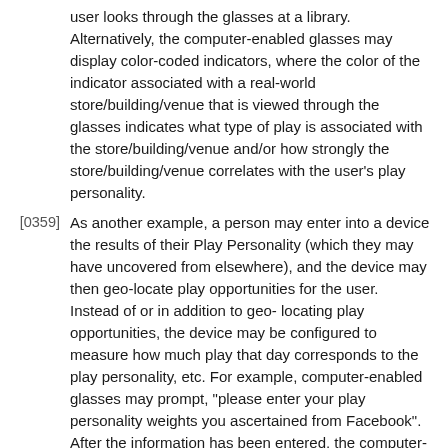user looks through the glasses at a library. Alternatively, the computer-enabled glasses may display color-coded indicators, where the color of the indicator associated with a real-world store/building/venue that is viewed through the glasses indicates what type of play is associated with the store/building/venue and/or how strongly the store/building/venue correlates with the user's play personality.
[0359] As another example, a person may enter into a device the results of their Play Personality (which they may have uncovered from elsewhere), and the device may then geo-locate play opportunities for the user. Instead of or in addition to geo-locating play opportunities, the device may be configured to measure how much play that day corresponds to the play personality, etc. For example, computer-enabled glasses may prompt, “please enter your play personality weights you ascertained from Facebook”. After the information has been entered, the computer-enabled glasses will locate and measure play opportunities for the